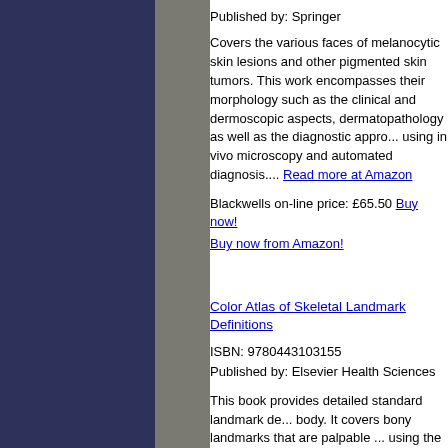Published by: Springer
Covers the various faces of melanocytic skin lesions and other pigmented skin tumors. This work encompasses their morphology such as the clinical and dermoscopic aspects, dermatopathology as well as the diagnostic approach using in vivo microscopy and automated diagnosis.... Read more at Amazon
Blackwells on-line price: £65.50 Buy now! Buy now from Amazon!
Color Atlas of Skeletal Landmark Definitions
ISBN: 9780443103155
Published by: Elsevier Health Sciences
This book provides detailed standard landmark definitions for the whole body. It covers bony landmarks that are palpable via real palpation (i.e. using the hand) and virtual palpation (i.e. using 3D medical imaging). Each chapter focuses on a particular body region, starting with a general anatomic presentation of the bone's skeletal anatomy (with figures showing real specimens and 3D bone models), followed by definitions and illustrations of the landmarks on... Read more at Amazon